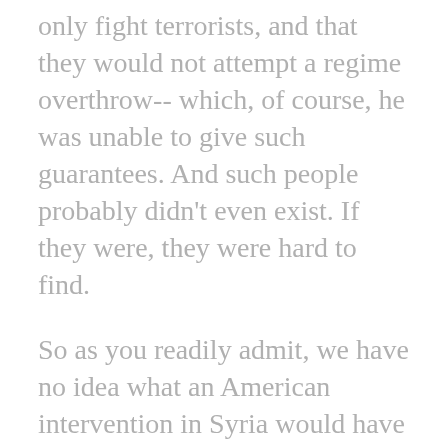only fight terrorists, and that they would not attempt a regime overthrow-- which, of course, he was unable to give such guarantees. And such people probably didn't even exist. If they were, they were hard to find.
So as you readily admit, we have no idea what an American intervention in Syria would have done. It could have turned out much, much worse. There's no data. It can be calculated to compare the two, side by side.
So we can see in that instance, actually, Obama was actually in the right, given the catastrophes that he had gone through in Libya, where there apparently were no Cassandras. And it had just materialized in Iraq,